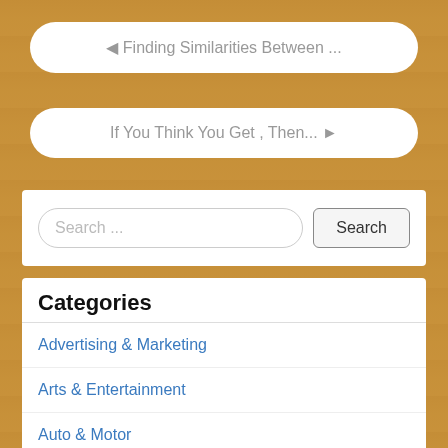◄ Finding Similarities Between ...
If You Think You Get , Then... ►
Search ...
Categories
Advertising & Marketing
Arts & Entertainment
Auto & Motor
Business Products & Services
Clothing & Fashion
Employment
Financial